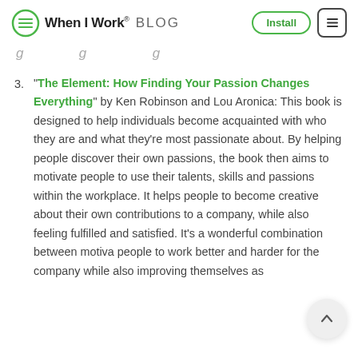When I Work BLOG | Install
g g g
3. "The Element: How Finding Your Passion Changes Everything" by Ken Robinson and Lou Aronica: This book is designed to help individuals become acquainted with who they are and what they’re most passionate about. By helping people discover their own passions, the book then aims to motivate people to use their talents, skills and passions within the workplace. It helps people to become creative about their own contributions to a company, while also feeling fulfilled and satisfied. It’s a wonderful combination between motiva people to work better and harder for the company while also improving themselves as